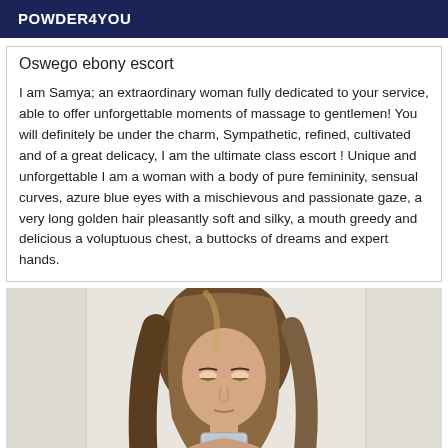POWDER4YOU
Oswego ebony escort
I am Samya; an extraordinary woman fully dedicated to your service, able to offer unforgettable moments of massage to gentlemen! You will definitely be under the charm, Sympathetic, refined, cultivated and of a great delicacy, I am the ultimate class escort ! Unique and unforgettable I am a woman with a body of pure femininity, sensual curves, azure blue eyes with a mischievous and passionate gaze, a very long golden hair pleasantly soft and silky, a mouth greedy and delicious a voluptuous chest, a buttocks of dreams and expert hands.
[Figure (photo): A woman with long brunette/blonde hair taking a selfie, looking down at her phone, indoor setting with white walls.]